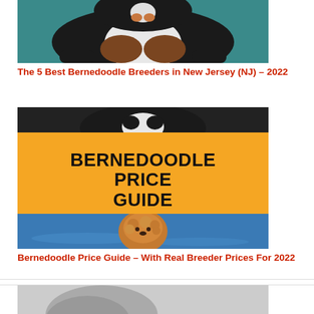[Figure (photo): Photo of a Bernedoodle puppy with black, white, and brown fur against a teal/blue background, cropped to show body]
The 5 Best Bernedoodle Breeders in New Jersey (NJ) – 2022
[Figure (infographic): Bernedoodle Price Guide image with a golden/yellow banner overlay reading BERNEDOODLE PRICE GUIDE in bold black text, with a dog visible at top and a golden doodle dog near a pool at the bottom]
Bernedoodle Price Guide – With Real Breeder Prices For 2022
[Figure (photo): Partial photo of a dog, cropped at bottom of page]